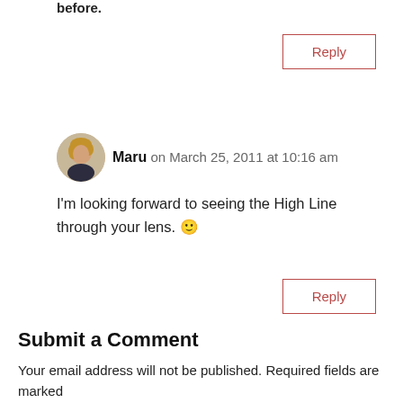before.
Reply
Maru on March 25, 2011 at 10:16 am
I'm looking forward to seeing the High Line through your lens. 🙂
Reply
Submit a Comment
Your email address will not be published. Required fields are marked *